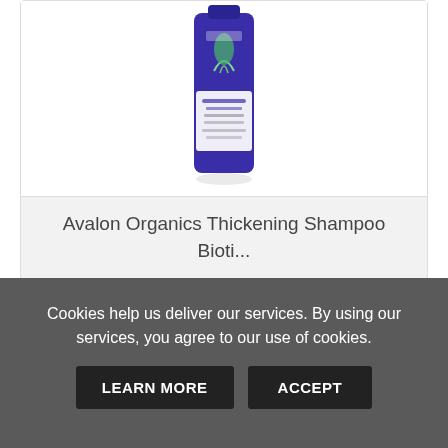[Figure (photo): Avalon Organics shampoo bottle in dark blue/purple color with herb illustration on white label]
Avalon Organics Thickening Shampoo Bioti...
£11.99 £9.99
[Figure (other): 5 gold stars rating]
VIEW  ADD TO CART
Cookies help us deliver our services. By using our services, you agree to our use of cookies.
LEARN MORE  ACCEPT